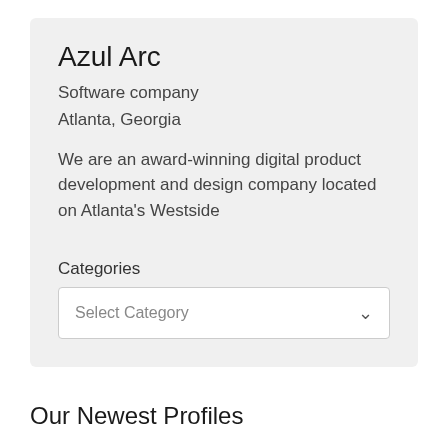Azul Arc
Software company
Atlanta, Georgia
We are an award-winning digital product development and design company located on Atlanta’s Westside
Categories
Select Category
Our Newest Profiles